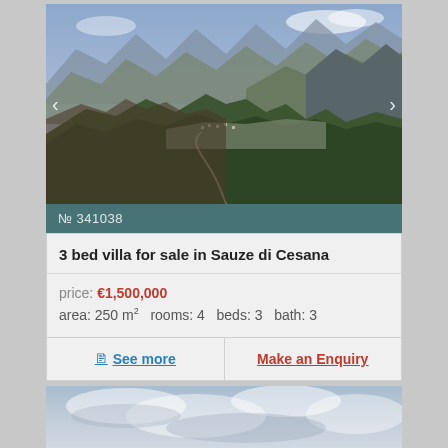[Figure (photo): Aerial mountain landscape photo showing Alpine village of Sauze di Cesana surrounded by forested slopes and mountain ranges]
№ 341038
3 bed villa for sale in Sauze di Cesana
price: €1,500,000
area: 250 m²   rooms: 4   beds: 3   bath: 3
See more   Make an Enquiry
[Figure (photo): Partial view of another property listing with sky background, partially visible at bottom of page]